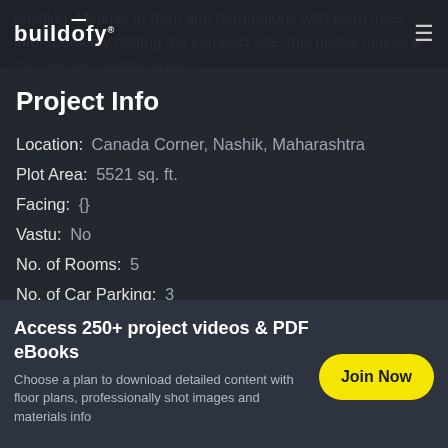building. Minimal in form and harmonious with palm trees interspersedly dotting the compact site, this house makes a discreet yet tasteful impact.
buildōfy
Project Info
Location: Canada Corner, Nashik, Maharashtra
Plot Area: 5521 sq. ft.
Facing: {}
Vastu: No
No. of Rooms: 5
No. of Car Parking: 3
Access 250+ project videos & PDF eBooks
Choose a plan to download detailed content with floor plans, professionally shot images and materials info
Join Now